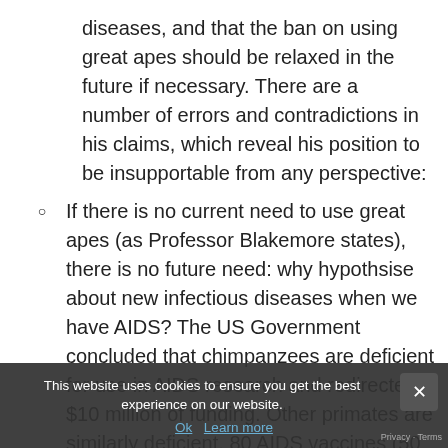diseases, and that the ban on using great apes should be relaxed in the future if necessary. There are a number of errors and contradictions in his claims, which reveal his position to be insupportable from any perspective:
If there is no current need to use great apes (as Professor Blakemore states), there is no future need: why hypothsise about new infectious diseases when we have AIDS? The US Government concluded that chimpanzees are deficient for use in AIDS research and redirected $10 million of funding. Other primates are similarly deficient. 80 AIDS vaccines (50 preventive, 30 therapeutic) have now failed in human trials following success in primates.